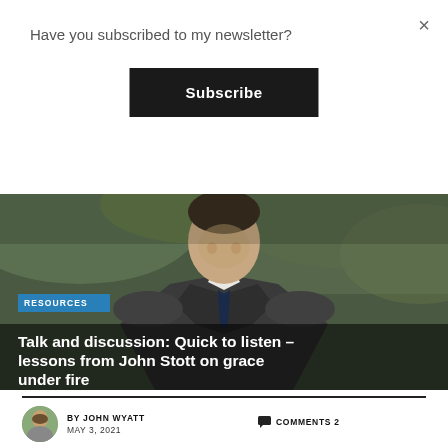Have you subscribed to my newsletter?
Subscribe
[Figure (photo): A man in a dark suit and tie, photographed outdoors with green foliage in the background. Partial view from chest up, head slightly bowed.]
RESOURCES
Talk and discussion: Quick to listen – lessons from John Stott on grace under fire
BY JOHN WYATT
MAY 3, 2021
COMMENTS 2
As part of the centenary commemorations of the great pastor, Bible teacher and Christian leader John